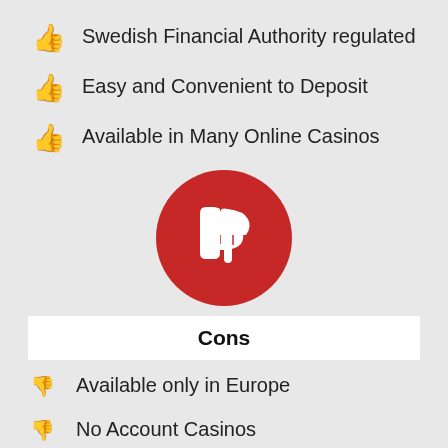Swedish Financial Authority regulated
Easy and Convenient to Deposit
Available in Many Online Casinos
[Figure (illustration): Large red circle with white thumbs-down icon in the center]
Cons
Available only in Europe
No Account Casinos